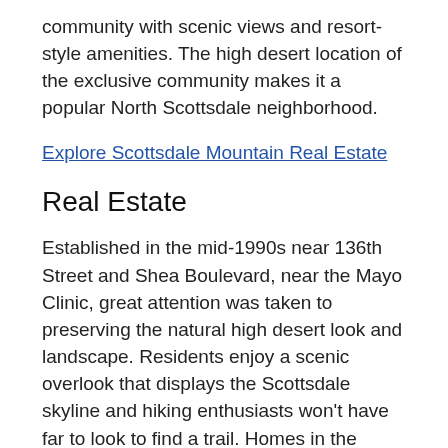community with scenic views and resort-style amenities. The high desert location of the exclusive community makes it a popular North Scottsdale neighborhood.
Explore Scottsdale Mountain Real Estate
Real Estate
Established in the mid-1990s near 136th Street and Shea Boulevard, near the Mayo Clinic, great attention was taken to preserving the natural high desert look and landscape. Residents enjoy a scenic overlook that displays the Scottsdale skyline and hiking enthusiasts won't have far to look to find a trail. Homes in the community are spacious and range from $400,000 to $3.6 million. Home types vary from condos and townhouses averaging 1,500 square feet to single-family residences as large as 10,000 square